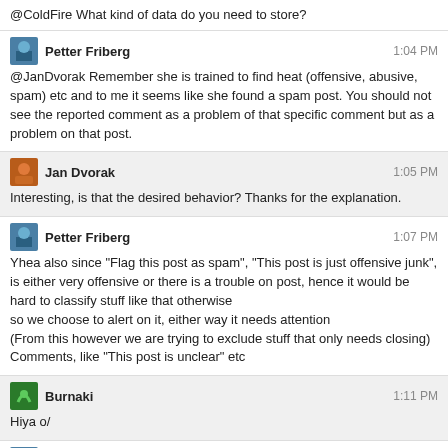@ColdFire What kind of data do you need to store?
Petter Friberg 1:04 PM
@JanDvorak Remember she is trained to find heat (offensive, abusive, spam) etc and to me it seems like she found a spam post. You should not see the reported comment as a problem of that specific comment but as a problem on that post.
Jan Dvorak 1:05 PM
Interesting, is that the desired behavior? Thanks for the explanation.
Petter Friberg 1:07 PM
Yhea also since "Flag this post as spam", "This post is just offensive junk", is either very offensive or there is a trouble on post, hence it would be hard to classify stuff like that otherwise
so we choose to alert on it, either way it needs attention
(From this however we are trying to exclude stuff that only needs closing)
Comments, like "This post is unclear" etc
Burnaki 1:11 PM
Hiya o/
Petter Friberg 1:12 PM
Hiya o/
Bhargav Rao 1:12 PM
Hiya o/
Jan Dvorak 1:18 PM
Hiya o/